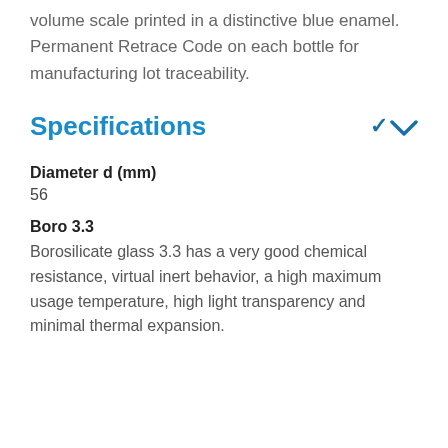volume scale printed in a distinctive blue enamel. Permanent Retrace Code on each bottle for manufacturing lot traceability.
Specifications
Diameter d (mm)
56
Boro 3.3
Borosilicate glass 3.3 has a very good chemical resistance, virtual inert behavior, a high maximum usage temperature, high light transparency and minimal thermal expansion.